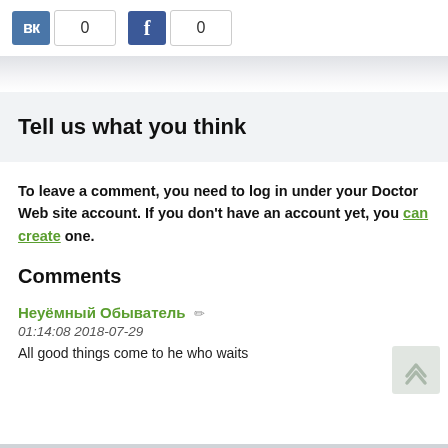[Figure (other): VK and Facebook share buttons, each showing count 0]
Tell us what you think
To leave a comment, you need to log in under your Doctor Web site account. If you don't have an account yet, you can create one.
Comments
Неуёмный Обыватель
01:14:08 2018-07-29
All good things come to he who waits